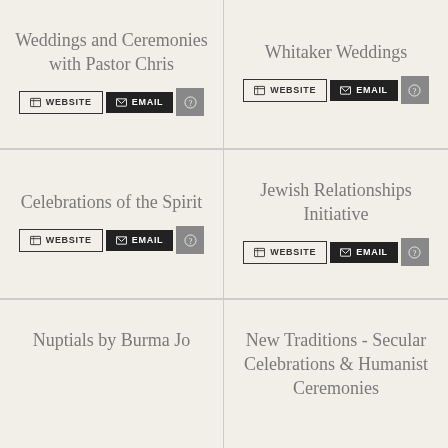Weddings and Ceremonies with Pastor Chris
Whitaker Weddings
Celebrations of the Spirit
Jewish Relationships Initiative
Nuptials by Burma Jo
New Traditions - Secular Celebrations & Humanist Ceremonies